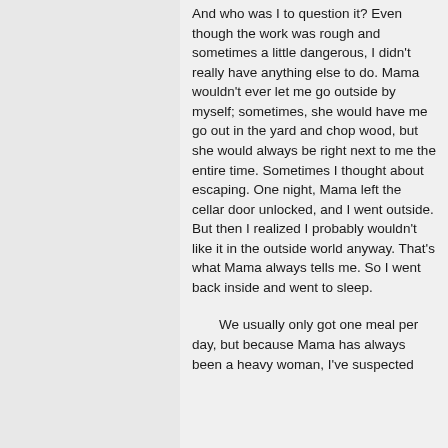And who was I to question it? Even though the work was rough and sometimes a little dangerous, I didn't really have anything else to do. Mama wouldn't ever let me go outside by myself; sometimes, she would have me go out in the yard and chop wood, but she would always be right next to me the entire time. Sometimes I thought about escaping. One night, Mama left the cellar door unlocked, and I went outside. But then I realized I probably wouldn't like it in the outside world anyway. That's what Mama always tells me. So I went back inside and went to sleep.
We usually only got one meal per day, but because Mama has always been a heavy woman, I've suspected